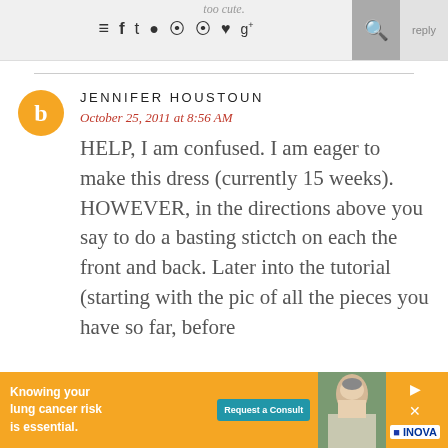too cute.
[Figure (screenshot): Navigation bar with hamburger menu icon, social media icons (Facebook, Twitter, Instagram, Pinterest, Pinterest, heart, Google+), search button, and reply button on a light gray background.]
JENNIFER HOUSTOUN
October 25, 2011 at 8:56 AM
HELP, I am confused. I am eager to make this dress (currently 15 weeks). HOWEVER, in the directions above you say to do a basting stictch on each the front and back. Later into the tutorial (starting with the pic of all the pieces you have so far, before
[Figure (infographic): Advertisement banner for INOVA lung cancer risk assessment. Yellow background with text 'Knowing your lung cancer risk is essential.' and a blue 'Request a Consult' button, photo of older man, INOVA logo.]